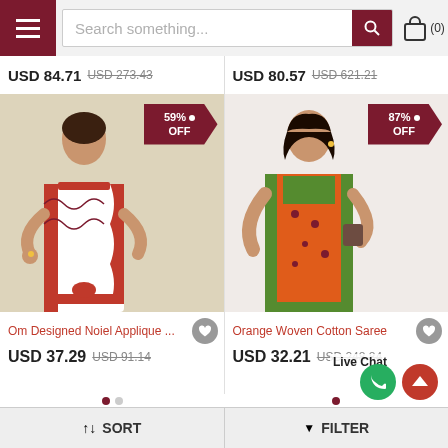Search something... (0)
USD 84.71  USD 273.43  |  USD 80.57  USD 621.21
[Figure (photo): Woman wearing white saree with red applique border design, 59% OFF badge]
[Figure (photo): Woman wearing orange woven cotton saree with green border, 87% OFF badge]
Om Designed Noiel Applique ...
USD 37.29  USD 91.14
Orange Woven Cotton Saree
USD 32.21  USD 248.84
Live Chat
↑↓ SORT    ▼ FILTER